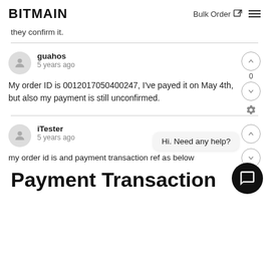BITMAIN | Bulk Order
they confirm it.
guahos
5 years ago
My order ID is 0012017050400247, I've payed it on May 4th, but also my payment is still unconfirmed.
iTester
5 years ago
my order id is and payment transaction ref as below
Payment Transaction